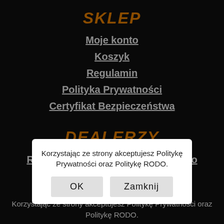SKLEP
Moje konto
Koszyk
Regulamin
Polityka Prywatności
Certyfikat Bezpieczeństwa
DEALERZY
Regulamin Programu Partnerskiego
Wzór umowy
Korzystając ze strony akceptujesz Politykę Prywatności oraz Politykę RODO.
TROKOT POLSKA | Wojciech Ciechowski | ul. Polna 7b | 87-100 Toruń | NIP: ... | REGON: 362857757